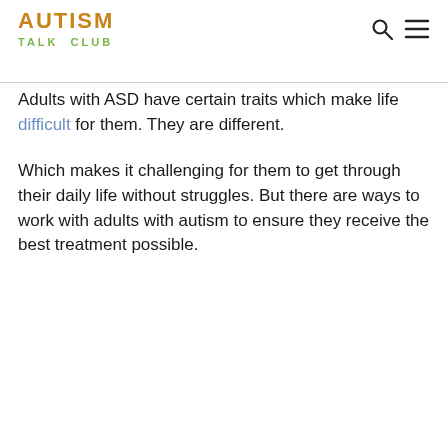AUTISM TALK CLUB
Adults with ASD have certain traits which make life difficult for them. They are different.
Which makes it challenging for them to get through their daily life without struggles. But there are ways to work with adults with autism to ensure they receive the best treatment possible.